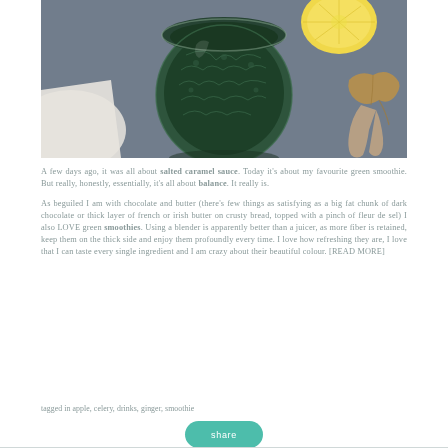[Figure (photo): A green smoothie in a decorative glass with floral etching, alongside a halved lemon and what appears to be ginger root on a dark gray background. A white cloth is visible in the lower left.]
A few days ago, it was all about salted caramel sauce. Today it's about my favourite green smoothie. But really, honestly, essentially, it's all about balance. It really is.

As beguiled I am with chocolate and butter (there's few things as satisfying as a big fat chunk of dark chocolate or thick layer of french or irish butter on crusty bread, topped with a pinch of fleur de sel) I also LOVE green smoothies. Using a blender is apparently better than a juicer, as more fiber is retained, keep them on the thick side and enjoy them profoundly every time. I love how refreshing they are, I love that I can taste every single ingredient and I am crazy about their beautiful colour. [READ MORE]
tagged in apple, celery, drinks, ginger, smoothie